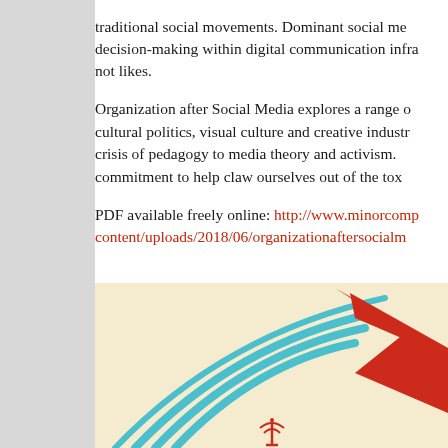traditional social movements. Dominant social media decision-making within digital communication infra- not likes.
Organization after Social Media explores a range of cultural politics, visual culture and creative industr- crisis of pedagogy to media theory and activism. commitment to help claw ourselves out of the tox-
PDF available freely online: http://www.minorcomp content/uploads/2018/06/organizationaftersocialm
[Figure (illustration): Book cover illustration on a cream/beige background showing stylized cyan/teal concentric arcs and a red bold angular shape, with a small wifi/signal tower icon at the bottom center — likely the cover of 'Organization after Social Media'.]